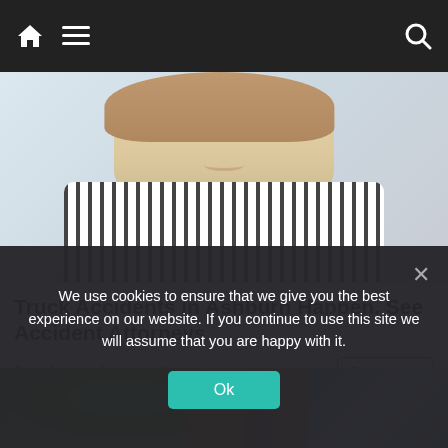[Figure (screenshot): Mobile website navigation bar with dark background, home icon, hamburger menu icon on left, search icon on right]
[Figure (photo): Photo of a smiling woman wearing a black and white striped top, shown from shoulders up]
Truck Accidents in Ashburn Happen. See Accident Attorneys
Truck Accident Attorneys | Sponsored
[Figure (photo): Partial photo showing an outdoor scene with a house, green trees on left, and what appears to be blue fabric on the right]
We use cookies to ensure that we give you the best experience on our website. If you continue to use this site we will assume that you are happy with it.